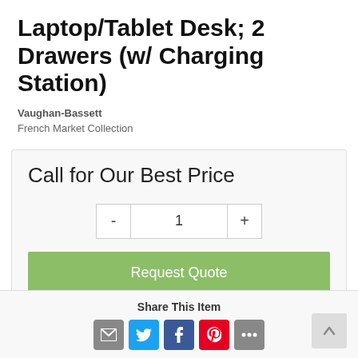Laptop/Tablet Desk; 2 Drawers (w/ Charging Station)
Vaughan-Bassett
French Market Collection
Call for Our Best Price
1
Request Quote
Share This Item